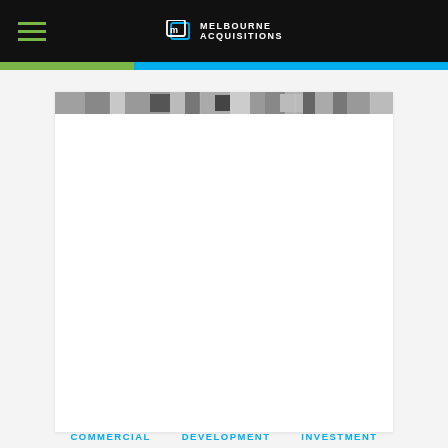Melbourne Acquisitions
[Figure (photo): Black and white panoramic banner photo strip showing commercial/urban property scenes]
COMMERCIAL   DEVELOPMENT   INVESTMENT